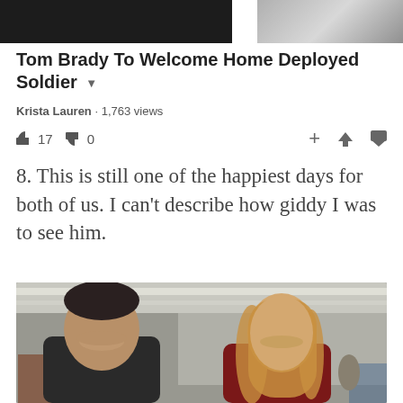[Figure (screenshot): Top portion of a YouTube video entry showing two partially visible thumbnail images side by side on a white background]
Tom Brady To Welcome Home Deployed Soldier
Krista Lauren · 1,763 views
👍 17  👎 0
8. This is still one of the happiest days for both of us. I can't describe how giddy I was to see him.
[Figure (photo): A smiling couple (a man with short dark hair wearing a dark jacket and a woman with long blonde hair wearing a dark top) posing together in what appears to be an airport terminal with overhead lighting visible in the background]